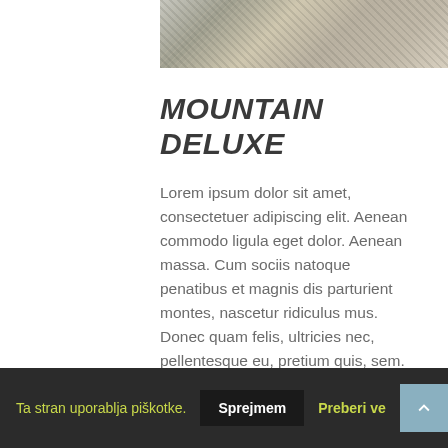[Figure (photo): Partial mountain/snow scene photo at the top of the page]
MOUNTAIN DELUXE
Lorem ipsum dolor sit amet, consectetuer adipiscing elit. Aenean commodo ligula eget dolor. Aenean massa. Cum sociis natoque penatibus et magnis dis parturient montes, nascetur ridiculus mus. Donec quam felis, ultricies nec, pellentesque eu, pretium quis, sem. Phasellus scelerisque nisl. Nunc id nulla quis ante luctus malesuada. Vivamus euismod ante leo, non luctus.
They come in one-, two-, three- and four-bedroom units, each with a
Ta stran uporablja piškotke.   Sprejmem   Preberi ve